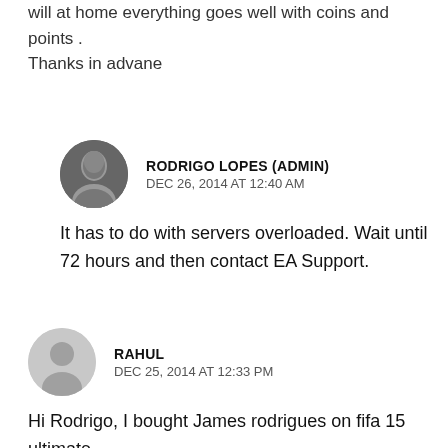will at home everything goes well with coins and points . Thanks in advane
RODRIGO LOPES (ADMIN)
DEC 26, 2014 AT 12:40 AM
It has to do with servers overloaded. Wait until 72 hours and then contact EA Support.
RAHUL
DEC 25, 2014 AT 12:33 PM
Hi Rodrigo, I bought James rodrigues on fifa 15 ultimate